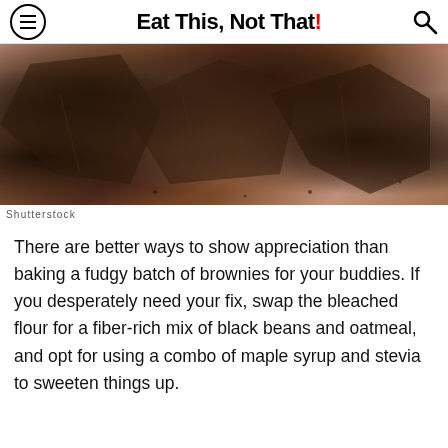Eat This, Not That!
[Figure (photo): Close-up overhead photo of several fudgy brownie pieces scattered on a light surface, showing crinkled tops with a dark chocolate texture]
Shutterstock
There are better ways to show appreciation than baking a fudgy batch of brownies for your buddies. If you desperately need your fix, swap the bleached flour for a fiber-rich mix of black beans and oatmeal, and opt for using a combo of maple syrup and stevia to sweeten things up.